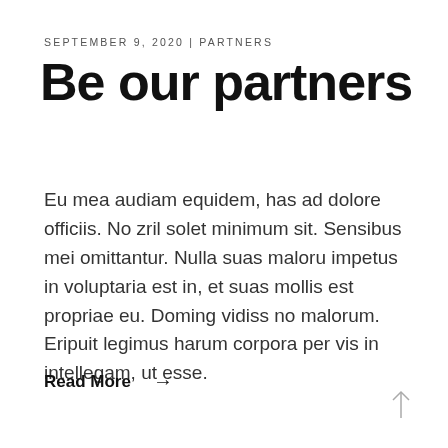SEPTEMBER 9, 2020 | PARTNERS
Be our partners
Eu mea audiam equidem, has ad dolore officiis. No zril solet minimum sit. Sensibus mei omittantur. Nulla suas maloru impetus in voluptaria est in, et suas mollis est propriae eu. Doming vidiss no malorum. Eripuit legimus harum corpora per vis in intellegam, ut esse.
Read More →